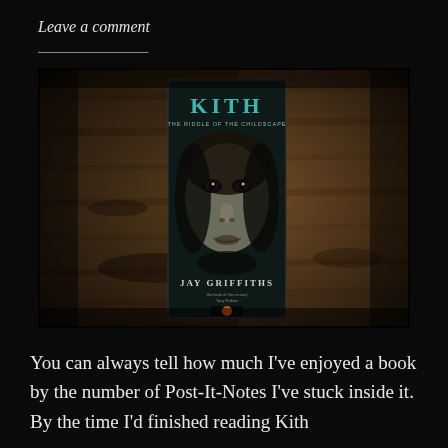Leave a comment
[Figure (photo): Book cover of 'Kith: The Riddle of the Childscape' by Jay Griffiths, placed on a weathered wooden surface. The cover shows a close-up of a child's face with dark, haunting eyes.]
You can always tell how much I've enjoyed a book by the number of Post-It-Notes I've stuck inside it. By the time I'd finished reading Kith